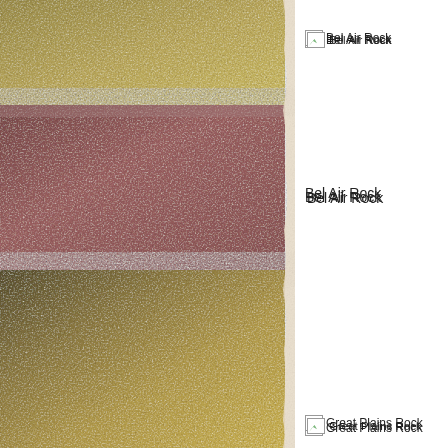[Figure (photo): Left half of page showing two material swatches stacked: top portion is an olive/khaki golden textured surface (visible at very top), middle section is a mauve/dusty rose rectangular panel, and bottom large section is an olive/gold textured leather-like surface. A torn paper edge is visible on the right side of the photo column.]
Bel Air Rock
Bel Air Rock
Great Plains Rock
Great Plains Rock
GAS Rock